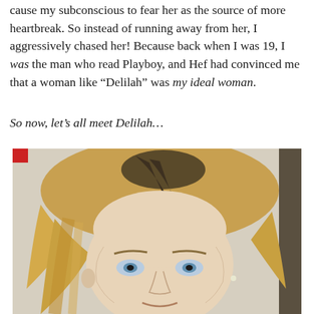cause my subconscious to fear her as the source of more heartbreak. So instead of running away from her, I aggressively chased her! Because back when I was 19, I was the man who read Playboy, and Hef had convinced me that a woman like “Delilah” was my ideal woman.
So now, let’s all meet Delilah…
[Figure (photo): Close-up photo of a blonde woman with blue eyes looking at the camera, with long blonde hair and dark roots. Background shows a light wall and a dark door frame on the right. A small red object is visible in the upper left corner.]